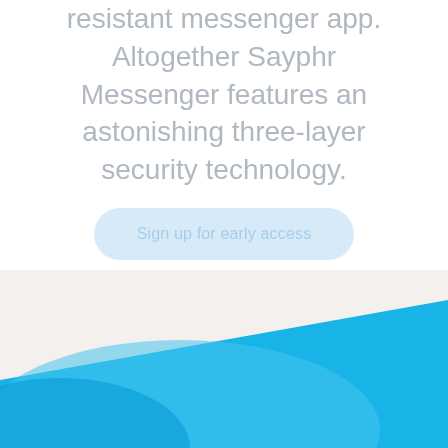resistant messenger app. Altogether Sayphr Messenger features an astonishing three-layer security technology.
[Figure (illustration): A call-to-action button labeled 'Sign up for early access' with a light blue rounded rectangle background, followed by a large blue diagonal/wave graphic in the lower portion of the page overlaid on a beige background.]